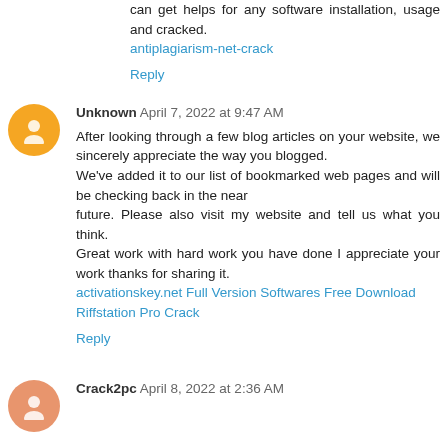can get helps for any software installation, usage and cracked.
antiplagiarism-net-crack
Reply
Unknown April 7, 2022 at 9:47 AM
After looking through a few blog articles on your website, we sincerely appreciate the way you blogged.
We've added it to our list of bookmarked web pages and will be checking back in the near
future. Please also visit my website and tell us what you think.
Great work with hard work you have done I appreciate your work thanks for sharing it.
activationskey.net Full Version Softwares Free Download
Riffstation Pro Crack
Reply
Crack2pc April 8, 2022 at 2:36 AM